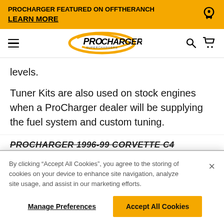PROCHARGER FEATURED ON OFFTHERANCH
LEARN MORE
[Figure (logo): ProCharger Superchargers logo with golden swoosh]
levels.
Tuner Kits are also used on stock engines when a ProCharger dealer will be supplying the fuel system and custom tuning.
PROCHARGER 1996-99 CORVETTE C4
By clicking “Accept All Cookies”, you agree to the storing of cookies on your device to enhance site navigation, analyze site usage, and assist in our marketing efforts.
Manage Preferences
Accept All Cookies